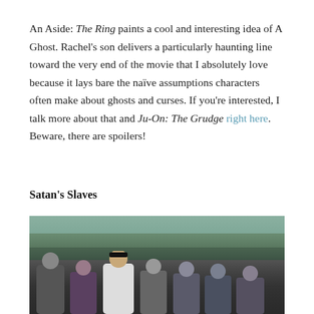An Aside: The Ring paints a cool and interesting idea of A Ghost. Rachel's son delivers a particularly haunting line toward the very end of the movie that I absolutely love because it lays bare the naïve assumptions characters often make about ghosts and curses. If you're interested, I talk more about that and Ju-On: The Grudge right here. Beware, there are spoilers!
Satan's Slaves
[Figure (photo): A group of people standing outdoors among trees. Several adults of varying ages are visible, with one man in the center wearing a white shirt and a black peci (cap). The image has a dark, moody tone with trees in the background.]